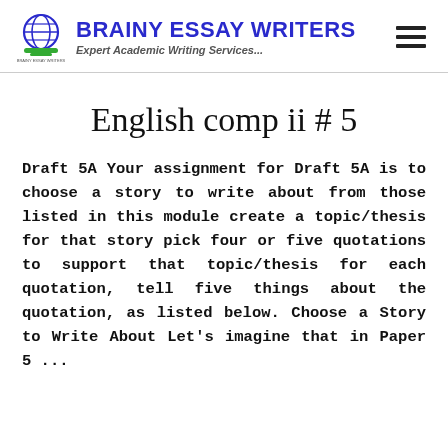BRAINY ESSAY WRITERS — Expert Academic Writing Services...
English comp ii # 5
Draft 5A Your assignment for Draft 5A is to choose a story to write about from those listed in this module create a topic/thesis for that story pick four or five quotations to support that topic/thesis for each quotation, tell five things about the quotation, as listed below. Choose a Story to Write About Let's imagine that in Paper 5 ...